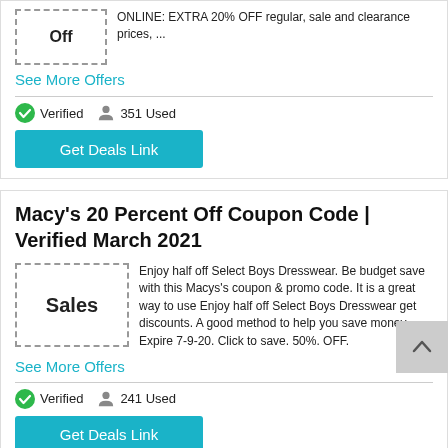[Figure (other): Coupon box with 'Off' label (partial, top of card)]
ONLINE: EXTRA 20% OFF regular, sale and clearance prices, ...
See More Offers
Verified   351 Used
Get Deals Link
Macy's 20 Percent Off Coupon Code | Verified March 2021
[Figure (other): Coupon box with 'Sales' label]
Enjoy half off Select Boys Dresswear. Be budget save with this Macys's coupon & promo code. It is a great way to use Enjoy half off Select Boys Dresswear get discounts. A good method to help you save money. . Expire 7-9-20. Click to save. 50%. OFF.
See More Offers
Verified   241 Used
Get Deals Link